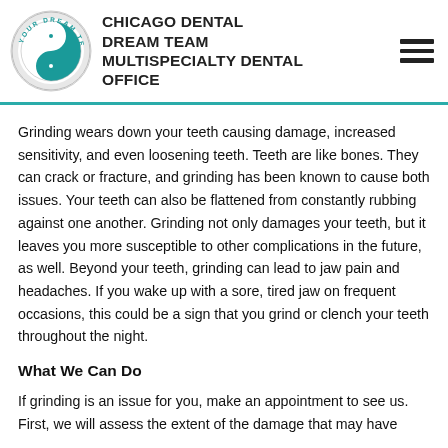[Figure (logo): Chicago Dental Dream Team yin-yang style circular logo with text 'YOUR DREAM TEAM' around the border]
CHICAGO DENTAL DREAM TEAM MULTISPECIALTY DENTAL OFFICE
Grinding wears down your teeth causing damage, increased sensitivity, and even loosening teeth. Teeth are like bones. They can crack or fracture, and grinding has been known to cause both issues. Your teeth can also be flattened from constantly rubbing against one another. Grinding not only damages your teeth, but it leaves you more susceptible to other complications in the future, as well. Beyond your teeth, grinding can lead to jaw pain and headaches. If you wake up with a sore, tired jaw on frequent occasions, this could be a sign that you grind or clench your teeth throughout the night.
What We Can Do
If grinding is an issue for you, make an appointment to see us. First, we will assess the extent of the damage that may have